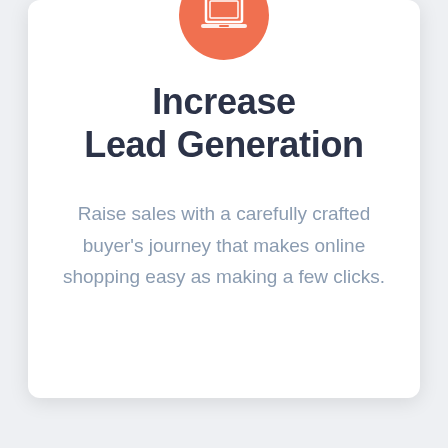[Figure (illustration): Orange circle with a white laptop/computer icon inside]
Increase Lead Generation
Raise sales with a carefully crafted buyer's journey that makes online shopping easy as making a few clicks.